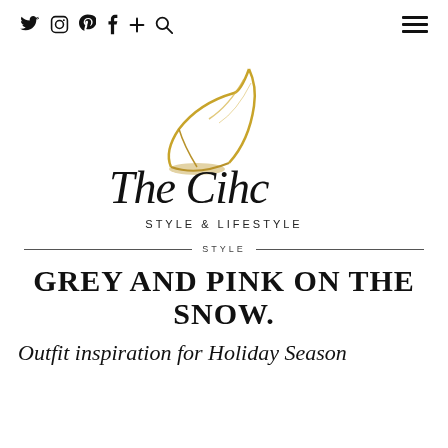Social icons: Twitter, Instagram, Pinterest, Facebook, Plus, Search | Hamburger menu
[Figure (logo): The Cihc Style & Lifestyle logo — a gold stiletto heel above cursive script 'The Cihc' with tagline 'STYLE & LIFESTYLE']
STYLE
GREY AND PINK ON THE SNOW.
Outfit inspiration for Holiday Season